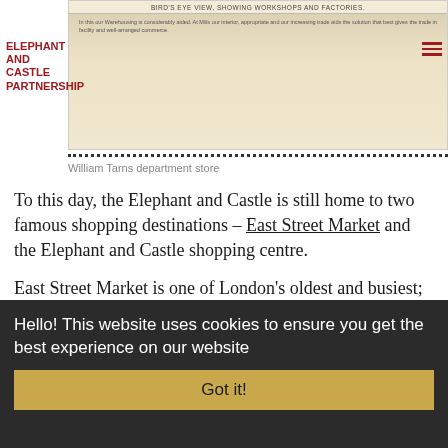[Figure (other): Old map or illustration of Elephant and Castle area showing workshops and factories, with title bar text and descriptive text below]
ELEPHANT AND CASTLE PARTNERSHIP
William Tarns department store
To this day, the Elephant and Castle is still home to two famous shopping destinations – East Street Market and the Elephant and Castle shopping centre.
East Street Market is one of London's oldest and busiest; although it was formally founded in 1880, it traces its roots to the 16th century. In Victorian times the market stretched the entire length of East Street.
Hello! This website uses cookies to ensure you get the best experience on our website